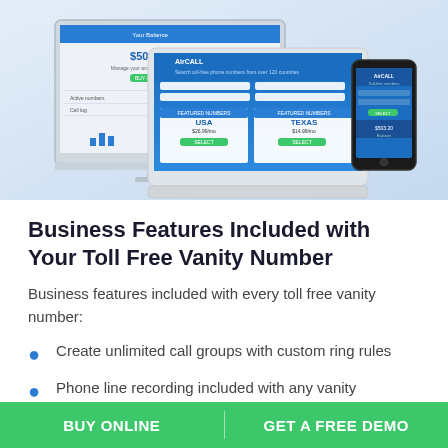[Figure (screenshot): Marketing hero image showing a desktop monitor, laptop, and smartphone displaying a toll-free vanity number service web application (AirCall) with blue and white UI on a light blue gradient background]
Business Features Included with Your Toll Free Vanity Number
Business features included with every toll free vanity number:
Create unlimited call groups with custom ring rules
Phone line recording included with any vanity
BUY ONLINE   GET A FREE DEMO